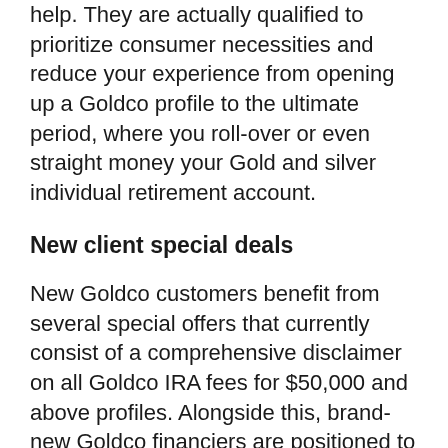help. They are actually qualified to prioritize consumer necessities and reduce your experience from opening up a Goldco profile to the ultimate period, where you roll-over or even straight money your Gold and silver individual retirement account.
New client special deals
New Goldco customers benefit from several special offers that currently consist of a comprehensive disclaimer on all Goldco IRA fees for $50,000 and above profiles. Alongside this, brand-new Goldco financiers are positioned to get 5% repayment as complimentary precious metals when they arrange trained purchases going over $50,000.